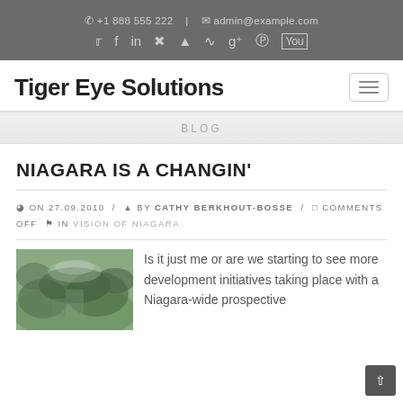+1 888 555 222 | admin@example.com | social icons: twitter, facebook, linkedin, dribbble, github, rss, google+, pinterest, youtube
Tiger Eye Solutions
BLOG
NIAGARA IS A CHANGIN'
ON 27.09.2010 / BY CATHY BERKHOUT-BOSSE / COMMENTS OFF IN VISION OF NIAGARA
[Figure (photo): Aerial or scenic photo of Niagara landscape with green vegetation and development]
Is it just me or are we starting to see more development initiatives taking place with a Niagara-wide prospective